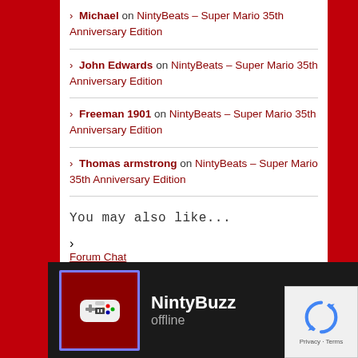Michael on NintyBeats – Super Mario 35th Anniversary Edition
John Edwards on NintyBeats – Super Mario 35th Anniversary Edition
Freeman 1901 on NintyBeats – Super Mario 35th Anniversary Edition
Thomas armstrong on NintyBeats – Super Mario 35th Anniversary Edition
You may also like...
[Figure (screenshot): NintyBuzz chat widget showing offline status with game controller icon on dark background]
Forum Chat
[Figure (logo): Google reCAPTCHA badge with spinning arrows logo, Privacy and Terms text]